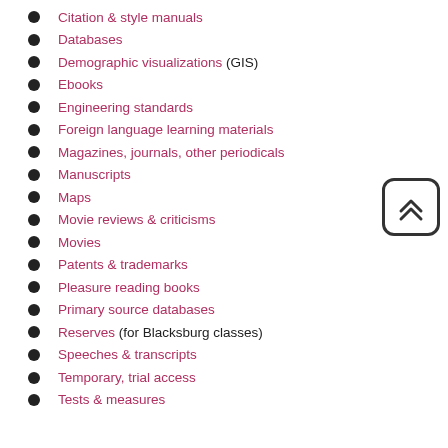Citation & style manuals
Databases
Demographic visualizations (GIS)
Ebooks
Engineering standards
Foreign language learning materials
Magazines, journals, other periodicals
Manuscripts
Maps
Movie reviews & criticisms
Movies
Patents & trademarks
Pleasure reading books
Primary source databases
Reserves (for Blacksburg classes)
Speeches & transcripts
Temporary, trial access
Tests & measures